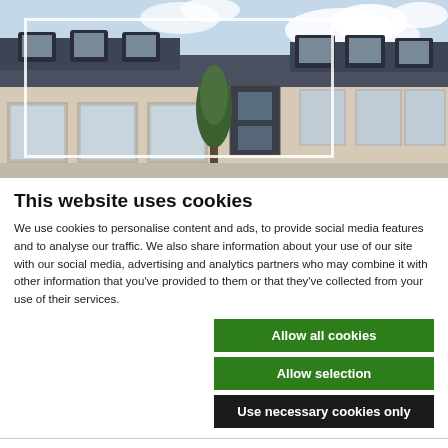[Figure (photo): Exterior photo of a multi-storey residential or commercial building with dormer windows, large glazing, and rendered facade. Sky with clouds in background. White rectangular border overlay on left portion of image.]
This website uses cookies
We use cookies to personalise content and ads, to provide social media features and to analyse our traffic. We also share information about your use of our site with our social media, advertising and analytics partners who may combine it with other information that you've provided to them or that they've collected from your use of their services.
Allow all cookies
Allow selection
Use necessary cookies only
Necessary  Preferences  Statistics  Marketing  Show details